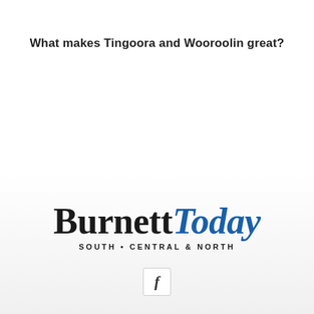What makes Tingoora and Wooroolin great?
[Figure (logo): Burnett Today newspaper logo with tagline SOUTH • CENTRAL & NORTH]
[Figure (logo): Facebook 'f' icon in a rounded rectangle border]